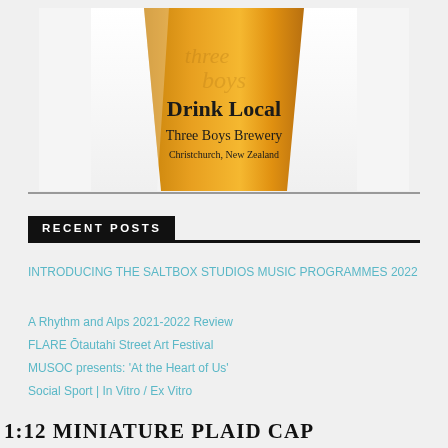[Figure (photo): A beer glass/pint cup with golden amber beer, branded with 'Drink Local - Three Boys Brewery - Christchurch, New Zealand' text on it. The glass is shown against a white background within a light grey bordered frame.]
RECENT POSTS
INTRODUCING THE SALTBOX STUDIOS MUSIC PROGRAMMES 2022
A Rhythm and Alps 2021-2022 Review
FLARE Ōtautahi Street Art Festival
MUSOC presents: 'At the Heart of Us'
Social Sport | In Vitro / Ex Vitro
1:12 MINIATURE PLAID CAP